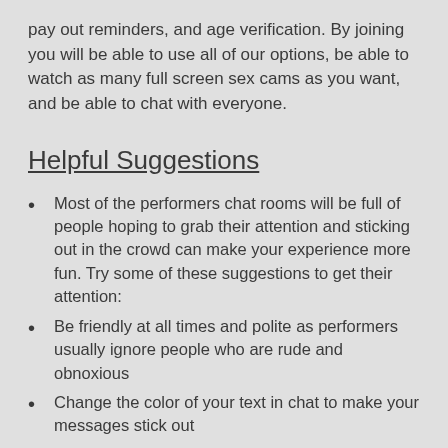pay out reminders, and age verification. By joining you will be able to use all of our options, be able to watch as many full screen sex cams as you want, and be able to chat with everyone.
Helpful Suggestions
Most of the performers chat rooms will be full of people hoping to grab their attention and sticking out in the crowd can make your experience more fun. Try some of these suggestions to get their attention:
Be friendly at all times and polite as performers usually ignore people who are rude and obnoxious
Change the color of your text in chat to make your messages stick out